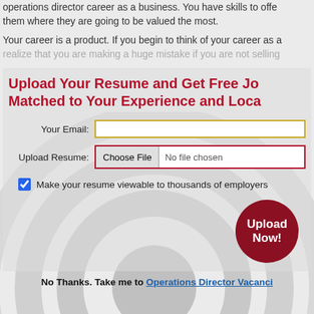operations director career as a business. You have skills to offer them where they are going to be valued the most.
Your career is a product. If you begin to think of your career as a realize that you are making a huge mistake if you are not selling
Upload Your Resume and Get Free Jo Matched to Your Experience and Loca
Your Email: [input field]
Upload Resume: Choose File  No file chosen
Make your resume viewable to thousands of employers
[Figure (other): Upload Now! circular red button]
No Thanks. Take me to Operations Director Vacanci